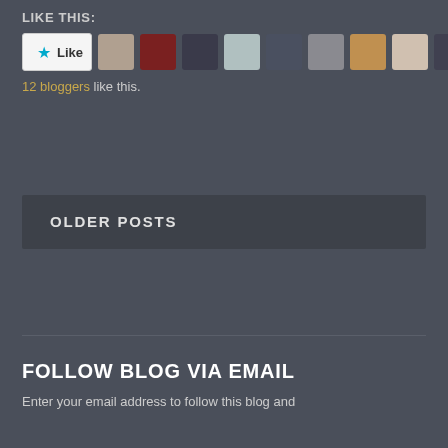LIKE THIS:
[Figure (other): Like button with star icon and row of 10 blogger avatar thumbnails]
12 bloggers like this.
OLDER POSTS
FOLLOW BLOG VIA EMAIL
Enter your email address to follow this blog and